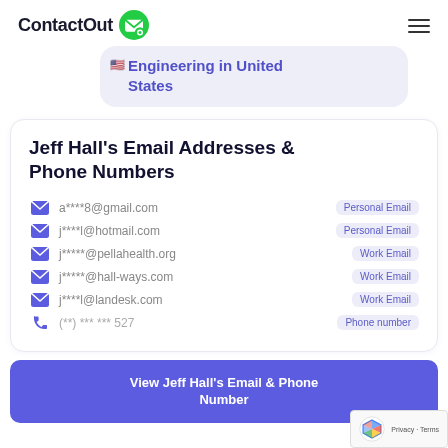ContactOut
Engineering in United States
Jeff Hall's Email Addresses & Phone Numbers
a****8@gmail.com — Personal Email
j****l@hotmail.com — Personal Email
j*****@pellahealth.org — Work Email
j*****@hall-ways.com — Work Email
j****l@landesk.com — Work Email
(**) *** *** 527 — Phone number
View Jeff Hall's Email & Phone Number